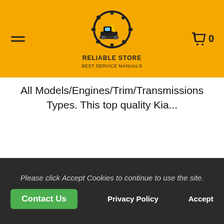[Figure (logo): Reliable Store logo: yellow/black excavator icon with gear, text 'RELIABLE STORE BEST SERVICE MANUALS']
All Models/Engines/Trim/Transmissions Types. This top quality Kia...
$37.99  $18.99
Availability :  -1 In Stock
Please click Accept Cookies to continue to use the site.
Contact Us
Privacy Policy
Accept